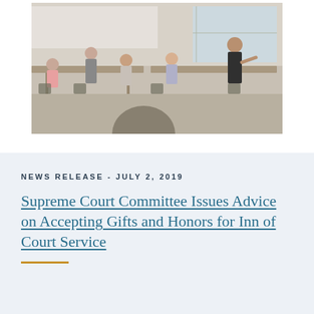[Figure (photo): Classroom scene with students seated at tables and an instructor standing at the front of the room near a whiteboard. Multiple young students are visible along with an adult presenter.]
NEWS RELEASE - JULY 2, 2019
Supreme Court Committee Issues Advice on Accepting Gifts and Honors for Inn of Court Service